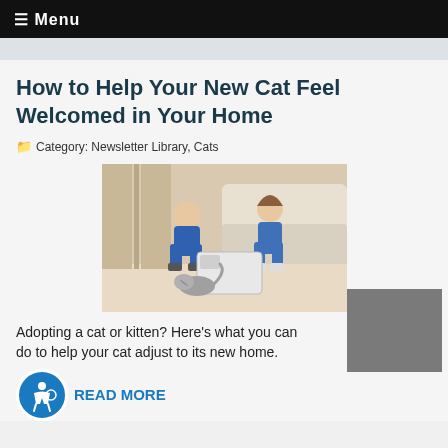≡ Menu
How to Help Your New Cat Feel Welcomed in Your Home
🗂 Category: Newsletter Library, Cats
[Figure (photo): A woman and a boy crouching on the floor near a cat carrier with a tabby cat emerging, in a living room setting.]
Adopting a cat or kitten? Here's what you can do to help your cat adjust to its new home.
READ MORE